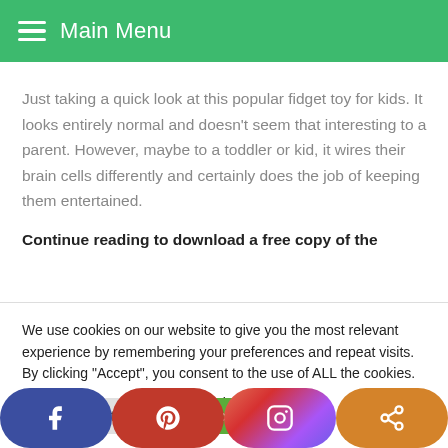Main Menu
Just taking a quick look at this popular fidget toy for kids. It looks entirely normal and doesn't seem that interesting to a parent. However, maybe to a toddler or kid, it wires their brain cells differently and certainly does the job of keeping them entertained.
Continue reading to download a free copy of the
We use cookies on our website to give you the most relevant experience by remembering your preferences and repeat visits. By clicking “Accept”, you consent to the use of ALL the cookies.
Do not sell my personal information.
[Figure (other): Cookie settings and accept buttons, and social media sharing bar with Facebook, Pinterest, Instagram, and share icons]